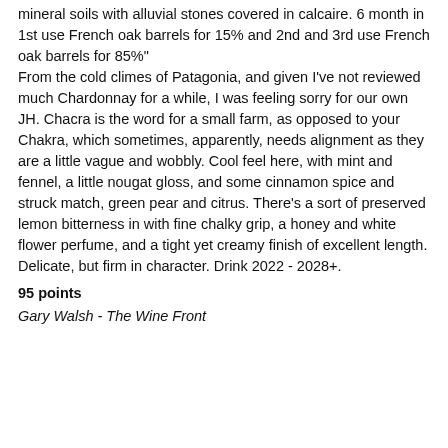mineral soils with alluvial stones covered in calcaire. 6 month in 1st use French oak barrels for 15% and 2nd and 3rd use French oak barrels for 85” From the cold climes of Patagonia, and given I’ve not reviewed much Chardonnay for a while, I was feeling sorry for our own JH. Chacra is the word for a small farm, as opposed to your Chakra, which sometimes, apparently, needs alignment as they are a little vague and wobbly. Cool feel here, with mint and fennel, a little nougat gloss, and some cinnamon spice and struck match, green pear and citrus. There’s a sort of preserved lemon bitterness in with fine chalky grip, a honey and white flower perfume, and a tight yet creamy finish of excellent length. Delicate, but firm in character. Drink 2022 - 2028+.
95 points
Gary Walsh - The Wine Front